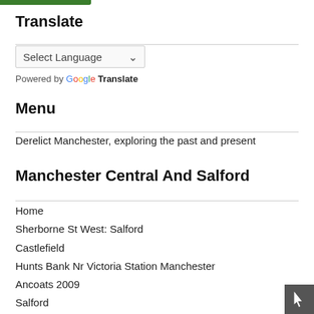[Figure (other): Green horizontal bar at top left corner of page]
Translate
[Figure (screenshot): Select Language dropdown box]
Powered by Google Translate
Menu
Derelict Manchester, exploring the past and present
Manchester Central And Salford
Home
Sherborne St West: Salford
Castlefield
Hunts Bank Nr Victoria Station Manchester
Ancoats 2009
Salford
Manchester Dereliction 2009-11
Crown Theatre Eccles